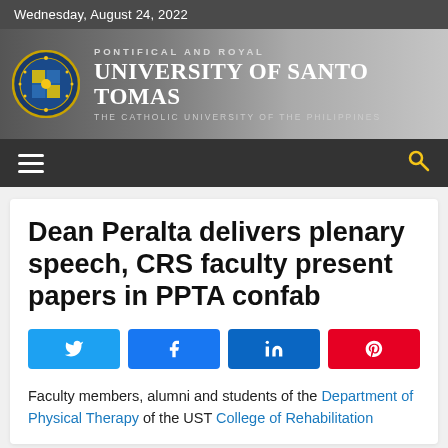Wednesday, August 24, 2022
[Figure (logo): University of Santo Tomas logo and banner with seal, text 'PONTIFICAL AND ROYAL', 'UNIVERSITY OF SANTO TOMAS', 'THE CATHOLIC UNIVERSITY OF THE PHILIPPINES']
Dean Peralta delivers plenary speech, CRS faculty present papers in PPTA confab
Faculty members, alumni and students of the Department of Physical Therapy of the UST College of Rehabilitation